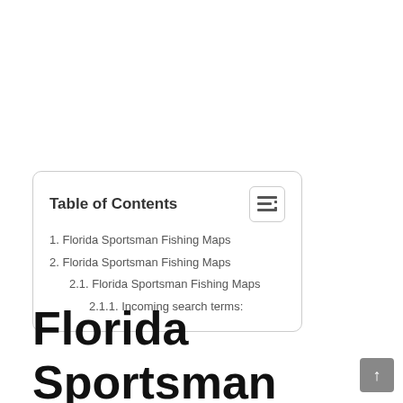| Table of Contents |
| 1. Florida Sportsman Fishing Maps |
| 2. Florida Sportsman Fishing Maps |
| 2.1. Florida Sportsman Fishing Maps |
| 2.1.1. Incoming search terms: |
Florida Sportsman Fishing Maps